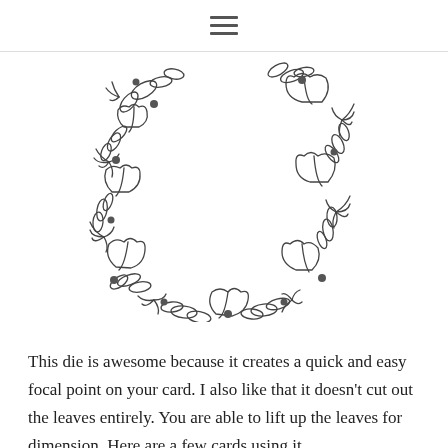≡
[Figure (illustration): A decorative wreath outline illustration made of leaves, oak leaves, and small round berries/dots arranged in a U-shape. The wreath is open at the top. Drawn in a hand-sketched style with thin dark lines on white background.]
This die is awesome because it creates a quick and easy focal point on your card. I also like that it doesn't cut out the leaves entirely. You are able to lift up the leaves for dimension. Here are a few cards using it…